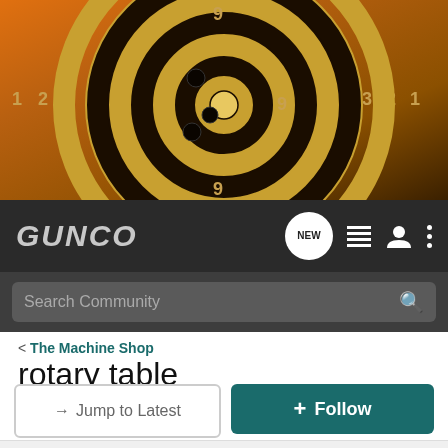[Figure (photo): Shooting target banner image with concentric rings numbered 1-9, gold/brown tones, with bullet holes visible]
GUNCO
Search Community
< The Machine Shop
rotary table
→ Jump to Latest
+ Follow
1 - 15 of 15 Posts
Winn R · Premium Member
Joined Feb 10, 2004 · 5,980 Posts